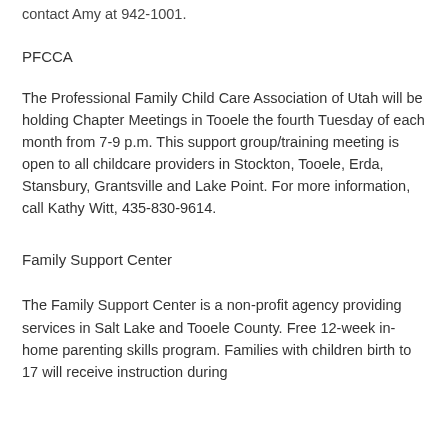contact Amy at 942-1001.
PFCCA
The Professional Family Child Care Association of Utah will be holding Chapter Meetings in Tooele the fourth Tuesday of each month from 7-9 p.m. This support group/training meeting is open to all childcare providers in Stockton, Tooele, Erda, Stansbury, Grantsville and Lake Point. For more information, call Kathy Witt, 435-830-9614.
Family Support Center
The Family Support Center is a non-profit agency providing services in Salt Lake and Tooele County. Free 12-week in-home parenting skills program. Families with children birth to 17 will receive instruction during